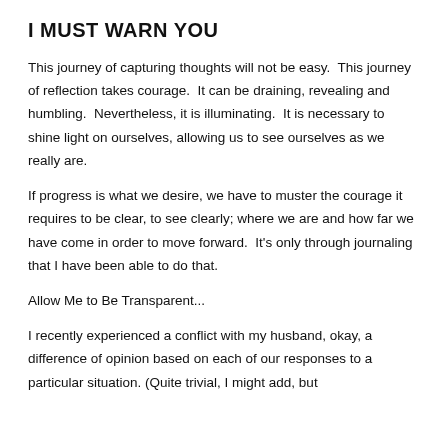I MUST WARN YOU
This journey of capturing thoughts will not be easy.  This journey of reflection takes courage.  It can be draining, revealing and humbling.  Nevertheless, it is illuminating.  It is necessary to shine light on ourselves, allowing us to see ourselves as we really are.
If progress is what we desire, we have to muster the courage it requires to be clear, to see clearly; where we are and how far we have come in order to move forward.  It's only through journaling that I have been able to do that.
Allow Me to Be Transparent...
I recently experienced a conflict with my husband, okay, a difference of opinion based on each of our responses to a particular situation. (Quite trivial, I might add, but